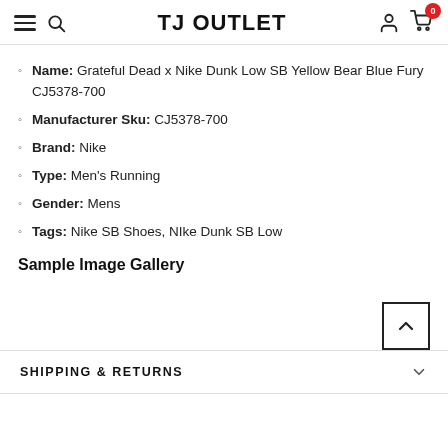TJ OUTLET
Name: Grateful Dead x Nike Dunk Low SB Yellow Bear Blue Fury CJ5378-700
Manufacturer Sku: CJ5378-700
Brand: Nike
Type: Men's Running
Gender: Mens
Tags: Nike SB Shoes, NIke Dunk SB Low
Sample Image Gallery
[Figure (other): Scroll to top button in lower right, square with chevron up arrow]
SHIPPING & RETURNS